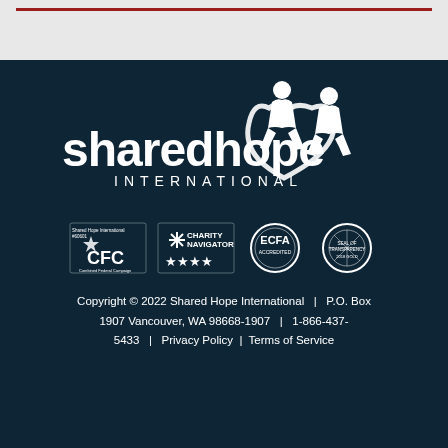[Figure (logo): Shared Hope International logo with two figures forming a heart shape, white on dark navy background]
[Figure (logo): Four certification/accreditation badges: CFC Combined Federal Campaign #60601, Charity Navigator 4-star rating, ECFA Accredited, Seal of Transparency 2018 Gold]
Copyright © 2022 Shared Hope International | P.O. Box 1907 Vancouver, WA 98668-1907 | 1-866-437-5433 | Privacy Policy | Terms of Service